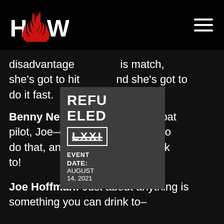HOW (logo) | hamburger menu
disadvantage [obscured] is match, she's got to hit [obscured] and she's got to do it fast.
[Figure (infographic): Popup overlay showing event info: REFUELED LXXI, EVENT (with strikethrough box), DATE: AUGUST 14, 2021]
Benny Newell: [obscured] rmer combat pilot, Joe–of C[obscured] nows how to do that, and th[obscured]g I can drink to!
Joe Hoffman: Just about anything is something you can drink to–